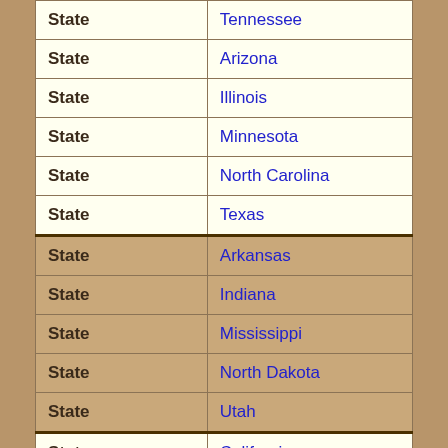| Type | Name |
| --- | --- |
| State | Tennessee |
| State | Arizona |
| State | Illinois |
| State | Minnesota |
| State | North Carolina |
| State | Texas |
| State | Arkansas |
| State | Indiana |
| State | Mississippi |
| State | North Dakota |
| State | Utah |
| State | California |
| State | Iowa |
| State | Missouri |